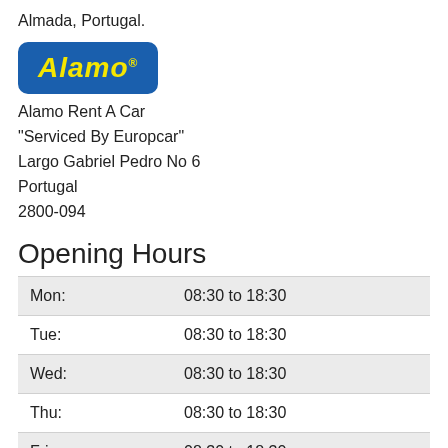Almada, Portugal.
[Figure (logo): Alamo logo: blue rounded rectangle with yellow italic text 'Alamo' and trademark symbol]
Alamo Rent A Car
"Serviced By Europcar"
Largo Gabriel Pedro No 6
Portugal
2800-094
Opening Hours
| Day | Hours |
| --- | --- |
| Mon: | 08:30 to 18:30 |
| Tue: | 08:30 to 18:30 |
| Wed: | 08:30 to 18:30 |
| Thu: | 08:30 to 18:30 |
| Fri: | 08:30 to 18:30 |
| Sat: | 00:00 to 00:00 |